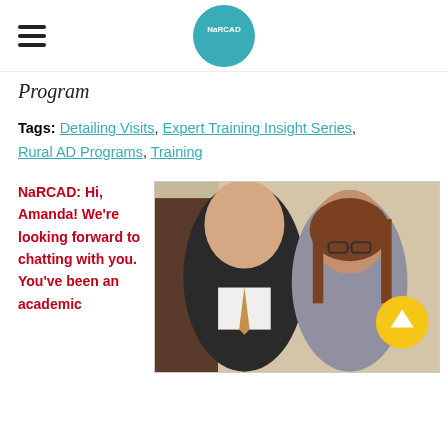NaRCAD
Program
Tags: Detailing Visits, Expert Training Insight Series, Rural AD Programs, Training
NaRCAD: Hi, Amanda! We're looking forward to chatting with you. You've been an academic
[Figure (photo): Two people smiling for a photo — a man in a suit with a tie and a woman with glasses and earrings, standing together in an office setting.]